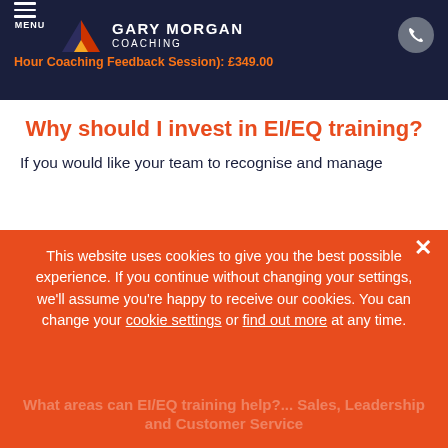MENU | GARY MORGAN COACHING | Emot... Hour Coaching Feedback Session): £349.00
Why should I invest in EI/EQ training?
If you would like your team to recognise and manage
This website uses cookies to give you the best possible experience. If you continue without changing your settings, we'll assume you're happy to receive our cookies. You can change your cookie settings or find out more at any time.